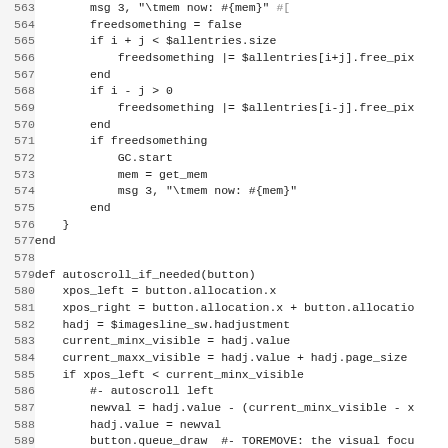Source code listing, lines 563–595, showing Ruby/scripting code for freedsomething, GC.start, get_mem, and autoscroll_if_needed function.